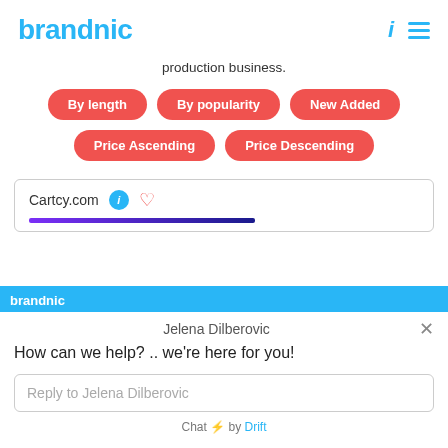brandnic
production business.
By length
By popularity
New Added
Price Ascending
Price Descending
Cartcy.com
Jelena Dilberovic
How can we help? .. we're here for you!
Reply to Jelena Dilberovic
Chat ⚡ by Drift